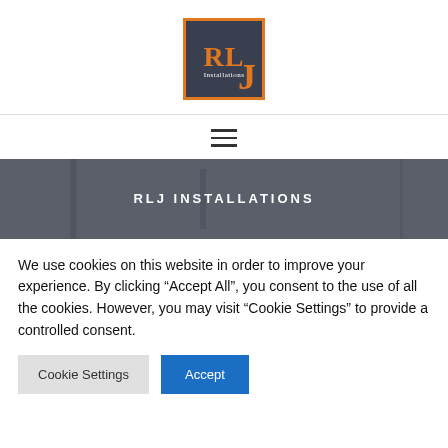[Figure (logo): RLJ Installations logo: dark blue-grey square with orange border, letters R L J in orange serif font, word 'Installations' in small white text]
[Figure (other): Hamburger menu icon with three horizontal lines]
[Figure (photo): Dark grey hero banner showing a kitchen/interior scene with text RLJ INSTALLATIONS centered in white]
We use cookies on this website in order to improve your experience. By clicking “Accept All”, you consent to the use of all the cookies. However, you may visit "Cookie Settings" to provide a controlled consent.
Cookie Settings
Accept